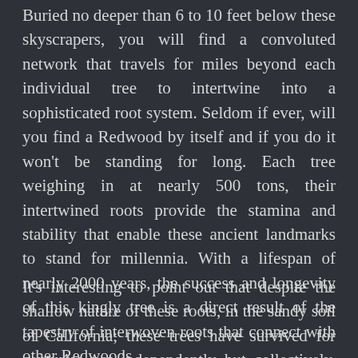Buried no deeper than 6 to 10 feet below these skyscrapers, you will find a convoluted network that travels for miles beyond each individual tree to intertwine into a sophisticated root system. Seldom if ever, will you find a Redwood by itself and if you do it won't be standing for long. Each tree weighing in at nearly 500 tons, their intertwined roots provide the stamina and stability that enable these ancient landmarks to stand for millennia. With a lifespan of nearly 2000 years, the success and longevity of this kingly tree is a direct result of the tapestry of interwoven roots that connect with other Redwoods.
It's interesting to point out that despite the shallow nature of these roots, in the sandy soil of California; these trees have survived for centuries not independently but collectively. Jesus often